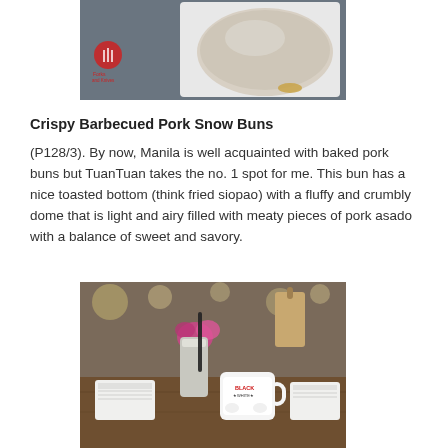[Figure (photo): Top portion of a baked pork bun on a white plate, with a food blog logo watermark in the lower left corner]
Crispy Barbecued Pork Snow Buns
(P128/3). By now, Manila is well acquainted with baked pork buns but TuanTuan takes the no. 1 spot for me. This bun has a nice toasted bottom (think fried siopao) with a fluffy and crumbly dome that is light and airy filled with meaty pieces of pork asado with a balance of sweet and savory.
[Figure (photo): Restaurant table scene with a Black and White branded mug, a metal shaker/container with a straw, a pink flower in background, and various items on a wooden table]